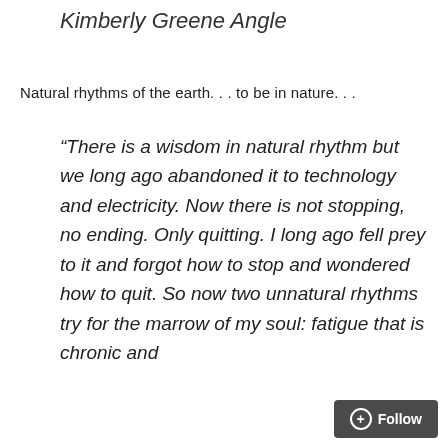Kimberly Greene Angle
Natural rhythms of the earth. . . to be in nature. . .
“There is a wisdom in natural rhythm but we long ago abandoned it to technology and electricity. Now there is not stopping, no ending. Only quitting. I long ago fell prey to it and forgot how to stop and wondered how to quit. So now two unnatural rhythms try for the marrow of my soul: fatigue that is chronic and